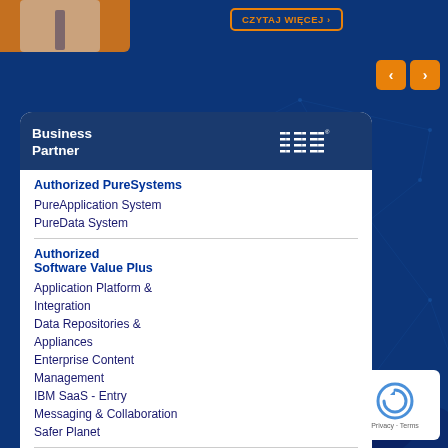[Figure (screenshot): Top strip with person photo (orange tint) and orange CZYTAJ WIĘCEJ button with navigation arrows on dark blue background]
[Figure (logo): IBM Business Partner logo - white text on dark navy background with IBM striped logo]
Authorized PureSystems
PureApplication System
PureData System
Authorized Software Value Plus
Application Platform & Integration
Data Repositories & Appliances
Enterprise Content Management
IBM SaaS - Entry
Messaging & Collaboration
Safer Planet
Authorized Systems and Storage
Power Systems
Storage
[Figure (other): reCAPTCHA badge in bottom right corner showing reCAPTCHA icon with Privacy - Terms text]